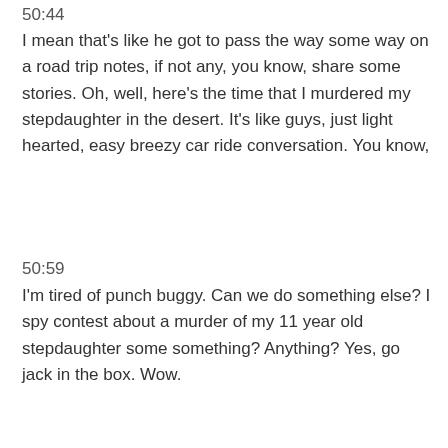50:44
I mean that's like he got to pass the way some way on a road trip notes, if not any, you know, share some stories. Oh, well, here's the time that I murdered my stepdaughter in the desert. It's like guys, just light hearted, easy breezy car ride conversation. You know,
50:59
I'm tired of punch buggy. Can we do something else? I spy contest about a murder of my 11 year old stepdaughter some something? Anything? Yes, go jack in the box. Wow.